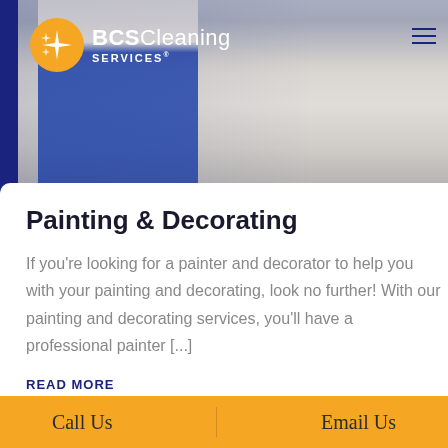[Figure (photo): Two workers in blue overalls doing painting and decorating. Left worker holds painting tools with pink gloves. Right worker wears a yellow hard hat and holds a paint roller.]
[Figure (logo): BCS Cleaning Services logo: orange circle with white star/sparkle icon, white text reading BCS Cleaning SERVICES]
Painting & Decorating
If you're looking for a painter and decorator to help you with your painting and decorating, look no further! With our painting and decorating services, you'll have a professional painter [...]
READ MORE
Call Us   Email Us